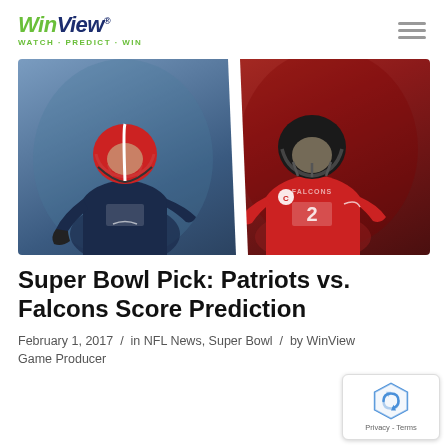WinView® WATCH·PREDICT·WIN
[Figure (photo): Two NFL quarterbacks side by side: left side shows a Patriots quarterback in navy blue uniform with red helmet, right side shows a Falcons quarterback in red uniform with dark helmet, separated by a diagonal white line.]
Super Bowl Pick: Patriots vs. Falcons Score Prediction
February 1, 2017 / in NFL News, Super Bowl / by WinView Game Producer